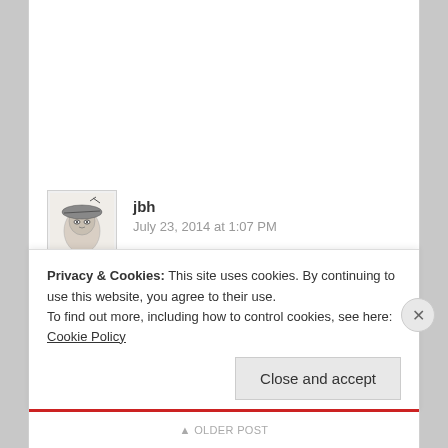[Figure (photo): Avatar/profile photo of user jbh — a sketched portrait of a person wearing a hat]
jbh
July 23, 2014 at 1:07 PM
looks good!
Liked by 1 person
REPLY
Privacy & Cookies: This site uses cookies. By continuing to use this website, you agree to their use.
To find out more, including how to control cookies, see here: Cookie Policy
Close and accept